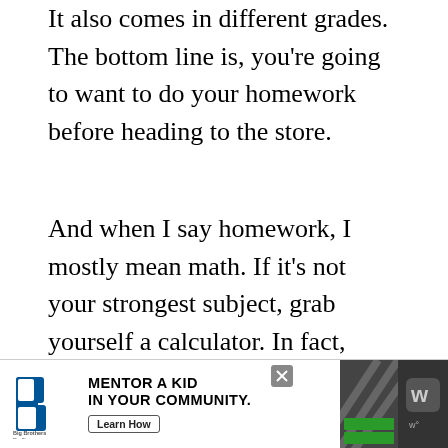It also comes in different grades. The bottom line is, you're going to want to do your homework before heading to the store.
And when I say homework, I mostly mean math. If it's not your strongest subject, grab yourself a calculator. In fact, even if you're a math whiz, use a calculator. This is one of those situations where you really, really, really want to be sure you've got the right numbers.
When calculating the dimensions of the lumber you need, it's important to know the di… s…e. No… li…r.
[Figure (other): Advertisement banner at bottom of page: Big Brothers Big Sisters of America logo on left, text 'MENTOR A KID IN YOUR COMMUNITY.' in bold uppercase, 'Learn How' button, decorative pattern, and app store icons on right. Close button (X) in top right of ad.]